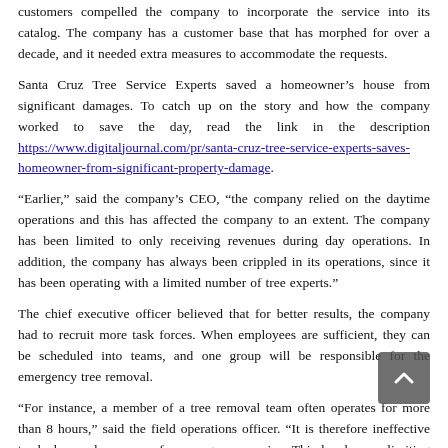customers compelled the company to incorporate the service into its catalog. The company has a customer base that has morphed for over a decade, and it needed extra measures to accommodate the requests.
Santa Cruz Tree Service Experts saved a homeowner's house from significant damages. To catch up on the story and how the company worked to save the day, read the link in the description https://www.digitaljournal.com/pr/santa-cruz-tree-service-experts-saves-homeowner-from-significant-property-damage.
“Earlier,” said the company’s CEO, “the company relied on the daytime operations and this has affected the company to an extent. The company has been limited to only receiving revenues during day operations. In addition, the company has always been crippled in its operations, since it has been operating with a limited number of tree experts.”
The chief executive officer believed that for better results, the company had to recruit more task forces. When employees are sufficient, they can be scheduled into teams, and one group will be responsible for the emergency tree removal.
“For instance, a member of a tree removal team often operates for more than 8 hours,” said the field operations officer. “It is therefore ineffective to deploy such a person for emergency service. This has been a limiting factor for all these years. However, the introduction of this to the catalog is a guarantee the customers will be helped immensely.”